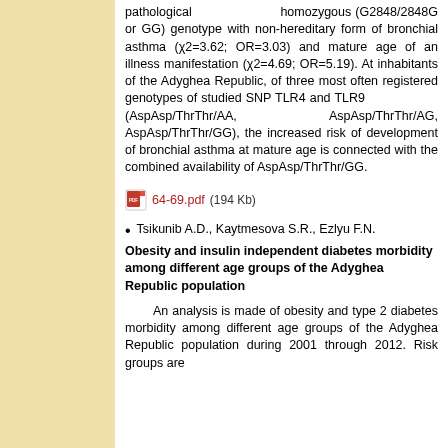pathological homozygous (G2848/2848G or GG) genotype with non-hereditary form of bronchial asthma (χ2=3.62; OR=3.03) and mature age of an illness manifestation (χ2=4.69; OR=5.19). At inhabitants of the Adyghea Republic, of three most often registered genotypes of studied SNP TLR4 and TLR9 (AspAsp/ThrThr/AA, AspAsp/ThrThr/AG, AspAsp/ThrThr/GG), the increased risk of development of bronchial asthma at mature age is connected with the combined availability of AspAsp/ThrThr/GG.
64-69.pdf (194 Kb)
Tsikunib A.D., Kaytmesova S.R., Ezlyu F.N. Obesity and insulin independent diabetes morbidity among different age groups of the Adyghea Republic population
An analysis is made of obesity and type 2 diabetes morbidity among different age groups of the Adyghea Republic population during 2001 through 2012. Risk groups are